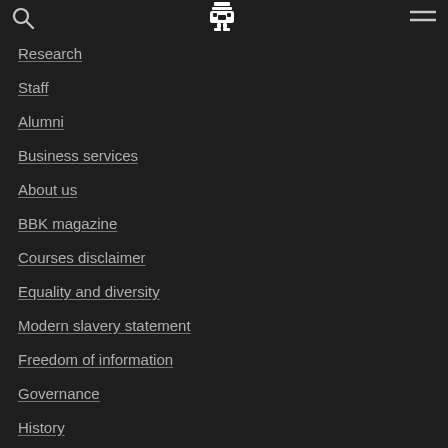Birkbeck University navigation header with search, logo, and menu icons
Research
Staff
Alumni
Business services
About us
BBK magazine
Courses disclaimer
Equality and diversity
Modern slavery statement
Freedom of information
Governance
History
Mission